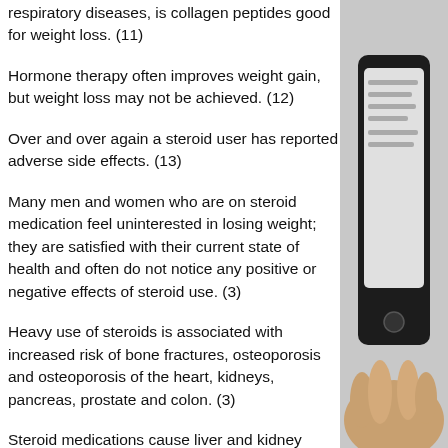respiratory diseases, is collagen peptides good for weight loss. (11)
Hormone therapy often improves weight gain, but weight loss may not be achieved. (12)
Over and over again a steroid user has reported adverse side effects. (13)
Many men and women who are on steroid medication feel uninterested in losing weight; they are satisfied with their current state of health and often do not notice any positive or negative effects of steroid use. (3)
Heavy use of steroids is associated with increased risk of bone fractures, osteoporosis and osteoporosis of the heart, kidneys, pancreas, prostate and colon. (3)
Steroid medications cause liver and kidney
[Figure (photo): A hand holding a smartphone, visible on the right side of the page against a grey background.]